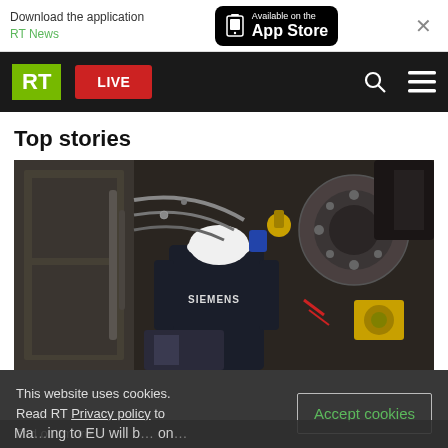Download the application RT News — Available on the App Store
[Figure (screenshot): RT news website navigation bar with green RT logo, red LIVE button, search icon and hamburger menu on black background]
Top stories
[Figure (photo): A Siemens worker in a dark jacket and white hard hat working on industrial turbine machinery]
This website uses cookies. Read RT Privacy policy to find out more.
Accept cookies
Ma… to EU will b… on…